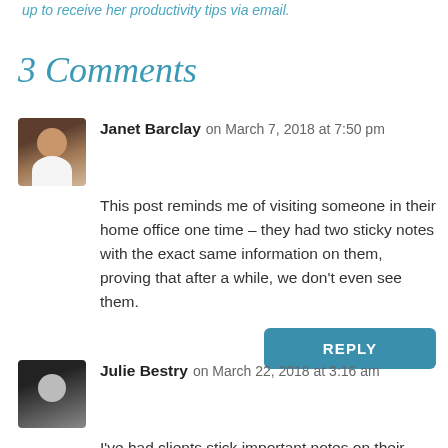up to receive her productivity tips via email.
3 Comments
Janet Barclay on March 7, 2018 at 7:50 pm
This post reminds me of visiting someone in their home office one time – they had two sticky notes with the exact same information on them, proving that after a while, we don't even see them.
Julie Bestry on March 22, 2018 at 3:16 am
I've had clients stick important notes on their shirts so that there's no way they'll be allowe